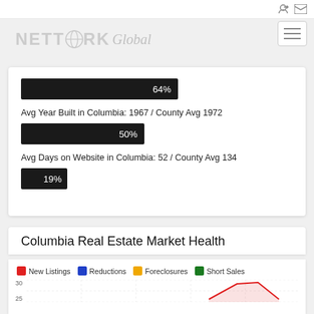[Figure (logo): Network Global logo in light gray, stylized text 'NETWORK Global']
64%
Avg Year Built in Columbia: 1967 / County Avg 1972
50%
Avg Days on Website in Columbia: 52 / County Avg 134
19%
Columbia Real Estate Market Health
[Figure (line-chart): Line chart showing New Listings, Reductions, Foreclosures, Short Sales over time. Y-axis visible from 25 to 30. Red line (New Listings) peaks near top around 28-30.]